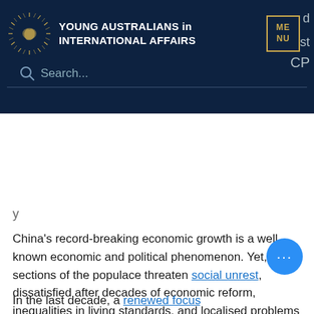YOUNG AUSTRALIANS in INTERNATIONAL AFFAIRS
China's record-breaking economic growth is a well known economic and political phenomenon. Yet, sections of the populace threaten social unrest, dissatisfied after decades of economic reform, inequalities in living standards, and localised problems such as high unemployment, and the high cost of city housing.
In the last decade, a renewed focus